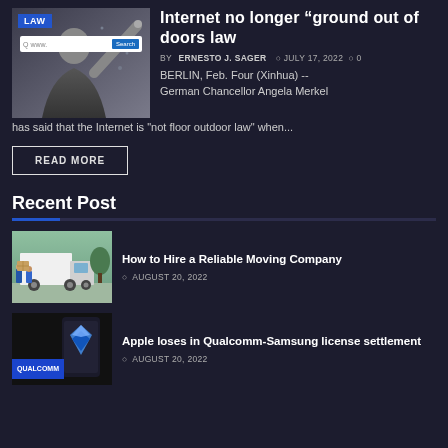[Figure (photo): Person pointing at a browser search bar; LAW badge overlay in top-left]
Internet no longer “ground out of doors law
BY ERNESTO J. SAGER  ○ JULY 17, 2022  ○ 0
BERLIN, Feb. Four (Xinhua) -- German Chancellor Angela Merkel has said that the Internet is "not floor outdoor law" when...
READ MORE
Recent Post
[Figure (photo): Movers loading boxes into a moving truck]
How to Hire a Reliable Moving Company
○ AUGUST 20, 2022
[Figure (logo): Qualcomm logo on dark background with blue gem icon]
Apple loses in Qualcomm-Samsung license settlement
○ AUGUST 20, 2022